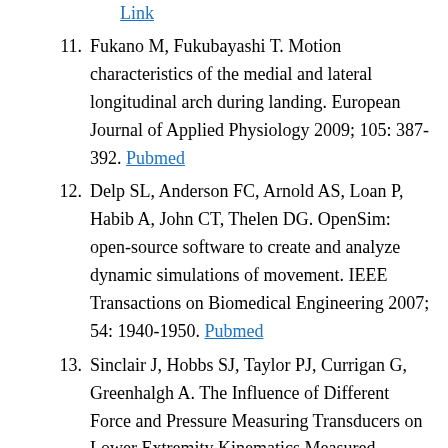Link
11. Fukano M, Fukubayashi T. Motion characteristics of the medial and lateral longitudinal arch during landing. European Journal of Applied Physiology 2009; 105: 387-392. Pubmed
12. Delp SL, Anderson FC, Arnold AS, Loan P, Habib A, John CT, Thelen DG. OpenSim: open-source software to create and analyze dynamic simulations of movement. IEEE Transactions on Biomedical Engineering 2007; 54: 1940-1950. Pubmed
13. Sinclair J, Hobbs SJ, Taylor PJ, Currigan G, Greenhalgh A. The Influence of Different Force and Pressure Measuring Transducers on Lower Extremity Kinematics Measured During Running. Journal of Applied Biomechanics 2014